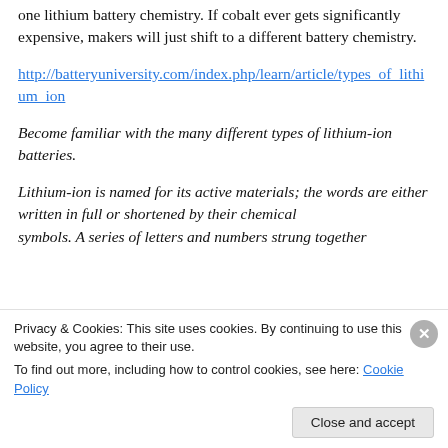one lithium battery chemistry. If cobalt ever gets significantly expensive, makers will just shift to a different battery chemistry.
http://batteryuniversity.com/index.php/learn/article/types_of_lithium_ion
Become familiar with the many different types of lithium-ion batteries.
Lithium-ion is named for its active materials; the words are either written in full or shortened by their chemical symbols. A series of letters and numbers strung together
Privacy & Cookies: This site uses cookies. By continuing to use this website, you agree to their use.
To find out more, including how to control cookies, see here: Cookie Policy
Close and accept